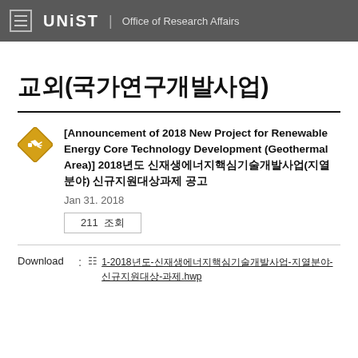UNIIST | Office of Research Affairs
교외(국가연구개발사업)
[Announcement of 2018 New Project for Renewable Energy Core Technology Development (Geothermal Area)] 2018년도 신재생에너지핵심기술개발사업(지열분야) 신규지원대상과제 공고 | Jan 31. 2018 | 211 조회
Download : 1-2018년도-신재생에너지핵심기술개발사업-지열분야-신규지원대상-과제.hwp